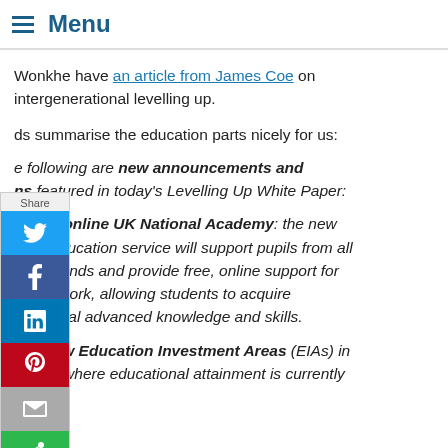Menu
Wonkhe have an article from James Coe on intergenerational levelling up.
ds summarise the education parts nicely for us:
e following are new announcements and ns featured in today's Levelling Up White Paper:
A new online UK National Academy: the new igital education service will support pupils from all ackgrounds and provide free, online support for hools' work, allowing students to acquire additional advanced knowledge and skills.
55 new Education Investment Areas (EIAs) in places where educational attainment is currently